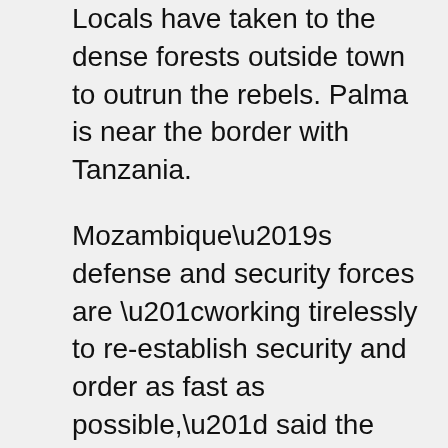Locals have taken to the dense forests outside town to outrun the rebels. Palma is near the border with Tanzania.
Mozambique’s defense and security forces are “working tirelessly to re-establish security and order as fast as possible,” said the Ministry of Defense through a spokesman, adding they will “do everything to guarantee the security” of the local population and of “economic projects.”
Total has issued a statement indicating it has suspended all its operations in the